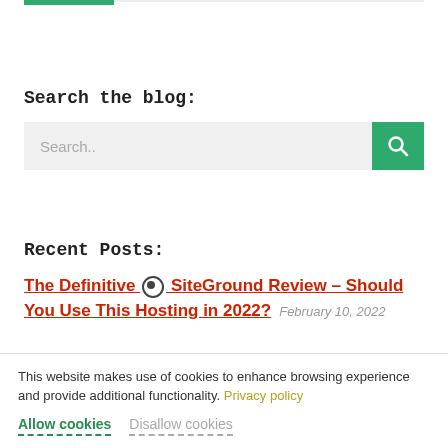Search the blog:
Search..
Recent Posts:
The Definitive SiteGround Review – Should You Use This Hosting in 2022?  February 10, 2022
This website makes use of cookies to enhance browsing experience and provide additional functionality. Privacy policy
Allow cookies   Disallow cookies